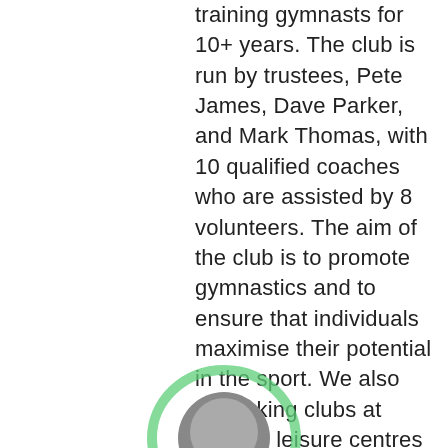training gymnasts for 10+ years. The club is run by trustees, Pete James, Dave Parker, and Mark Thomas, with 10 qualified coaches who are assisted by 8 volunteers. The aim of the club is to promote gymnastics and to ensure that individuals maximise their potential in the sport. We also run linking clubs at Codsall leisure centres along with a number of local schools
[Figure (photo): Partial photo of a person with a green circular highlight/halo effect around their head, visible at the bottom of the page.]